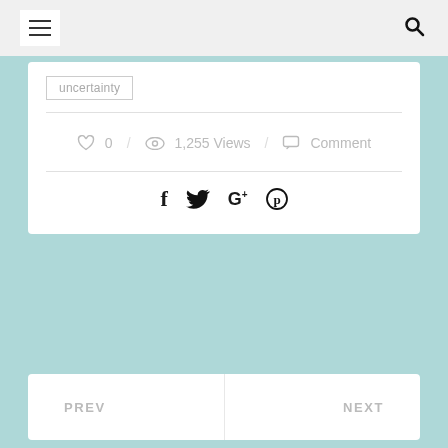Navigation bar with hamburger menu and search icon
uncertainty
0  /  1,255 Views  /  Comment
[Figure (other): Social sharing icons: Facebook (f), Twitter (bird), Google+ (G+), Pinterest (P circle)]
PREV
NEXT